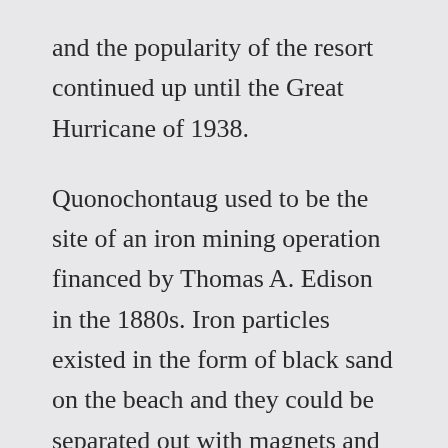and the popularity of the resort continued up until the Great Hurricane of 1938.
Quonochontaug used to be the site of an iron mining operation financed by Thomas A. Edison in the 1880s. Iron particles existed in the form of black sand on the beach and they could be separated out with magnets and melted to